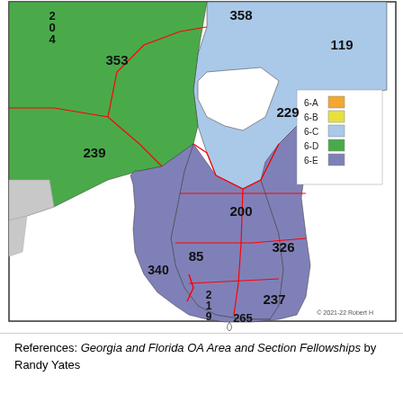[Figure (map): Map showing Georgia and Florida OA Area and Section Fellowships. Regions are color-coded: 6-A (orange), 6-B (yellow), 6-C (light blue), 6-D (green), 6-E (purple/slate). Numbered sections visible include 358, 119, 204, 353, 229, 239, 200, 85, 326, 340, 219, 237, 265. Legend shows colors for 6-A through 6-E. Copyright 2021-22 Robert H.]
References: Georgia and Florida OA Area and Section Fellowships by Randy Yates